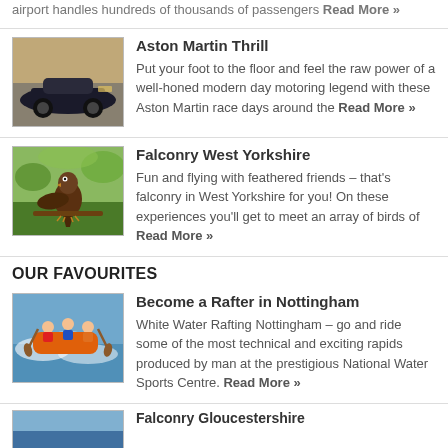airport handles hundreds of thousands of passengers Read More »
[Figure (photo): Aston Martin sports car on a road]
Aston Martin Thrill
Put your foot to the floor and feel the raw power of a well-honed modern day motoring legend with these Aston Martin race days around the Read More »
[Figure (photo): Falcon bird perched on a branch]
Falconry West Yorkshire
Fun and flying with feathered friends – that's falconry in West Yorkshire for you! On these experiences you'll get to meet an array of birds of Read More »
OUR FAVOURITES
[Figure (photo): White water rafting in Nottingham]
Become a Rafter in Nottingham
White Water Rafting Nottingham – go and ride some of the most technical and exciting rapids produced by man at the prestigious National Water Sports Centre. Read More »
[Figure (photo): Falconry Gloucestershire image]